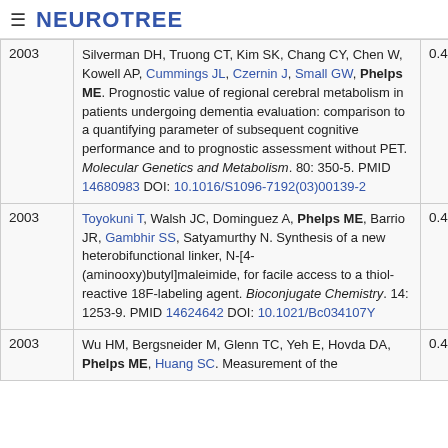≡ NEUROTREE
| Year | Reference | Score |
| --- | --- | --- |
| 2003 | Silverman DH, Truong CT, Kim SK, Chang CY, Chen W, Kowell AP, Cummings JL, Czernin J, Small GW, Phelps ME. Prognostic value of regional cerebral metabolism in patients undergoing dementia evaluation: comparison to a quantifying parameter of subsequent cognitive performance and to prognostic assessment without PET. Molecular Genetics and Metabolism. 80: 350-5. PMID 14680983 DOI: 10.1016/S1096-7192(03)00139-2 | 0.404 |
| 2003 | Toyokuni T, Walsh JC, Dominguez A, Phelps ME, Barrio JR, Gambhir SS, Satyamurthy N. Synthesis of a new heterobifunctional linker, N-[4-(aminooxy)butyl]maleimide, for facile access to a thiol-reactive 18F-labeling agent. Bioconjugate Chemistry. 14: 1253-9. PMID 14624642 DOI: 10.1021/Bc034107Y | 0.46 |
| 2003 | Wu HM, Bergsneider M, Glenn TC, Yeh E, Hovda DA, Phelps ME, Huang SC. Measurement of the | 0.445 |